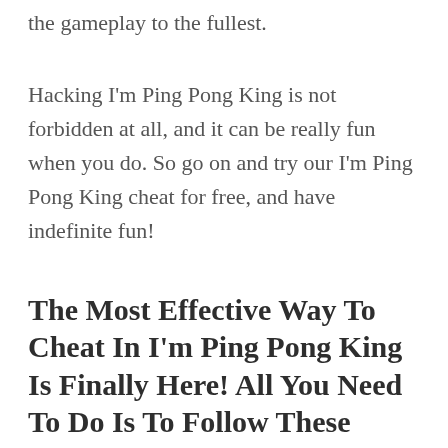the gameplay to the fullest.
Hacking I'm Ping Pong King is not forbidden at all, and it can be really fun when you do. So go on and try our I'm Ping Pong King cheat for free, and have indefinite fun!
The Most Effective Way To Cheat In I'm Ping Pong King Is Finally Here! All You Need To Do Is To Follow These Particular 5 Basic Steps